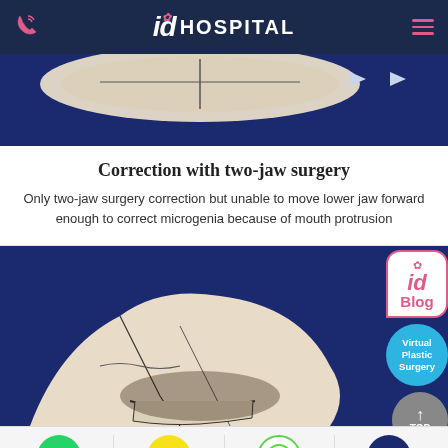id HOSPITAL
[Figure (illustration): Top portion of a jaw/dental illustration on dark blue background]
Correction with two-jaw surgery
Only two-jaw surgery correction but unable to move lower jaw forward enough to correct microgenia because of mouth protrusion
[Figure (illustration): Skull/jaw bone diagram illustration on dark blue background with floating UI buttons (id Blog, Virtual Plastic Surgery, TOP)]
[Figure (infographic): Social contact bar with Whatsapp, KakaoTalk, Line, Price Inquiry icons]
Please note: In regards to before and after photos on this site, results may vary depending on each patients' individual case.